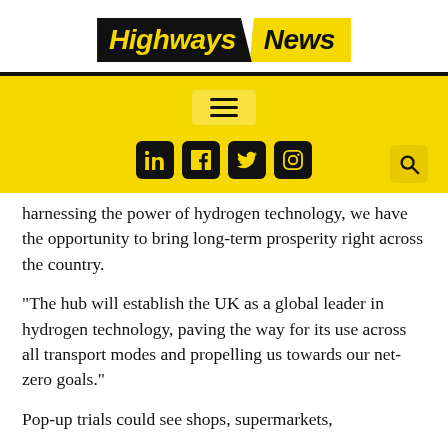[Figure (logo): Highways News logo — 'Highways' in yellow italic bold text on black background, 'News' in black italic bold text on yellow background, both parallelogram-shaped]
[Figure (infographic): Yellow navigation bar with hamburger menu icon (three horizontal lines) centered, social media icons (LinkedIn, Facebook, Twitter, Instagram) in black rounded squares, and a search/magnifier icon on the right]
harnessing the power of hydrogen technology, we have the opportunity to bring long-term prosperity right across the country.
“The hub will establish the UK as a global leader in hydrogen technology, paving the way for its use across all transport modes and propelling us towards our net-zero goals.”
Pop-up trials could see shops, supermarkets,